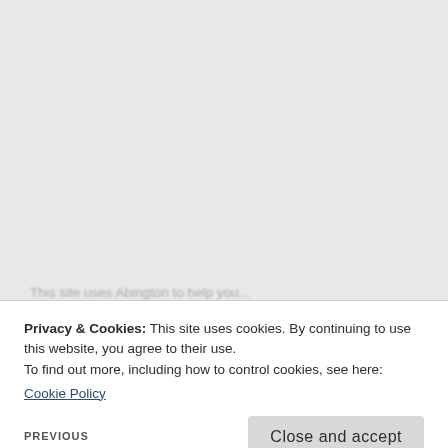Privacy & Cookies: This site uses cookies. By continuing to use this website, you agree to their use.
To find out more, including how to control cookies, see here:
Cookie Policy
Close and accept
PREVIOUS